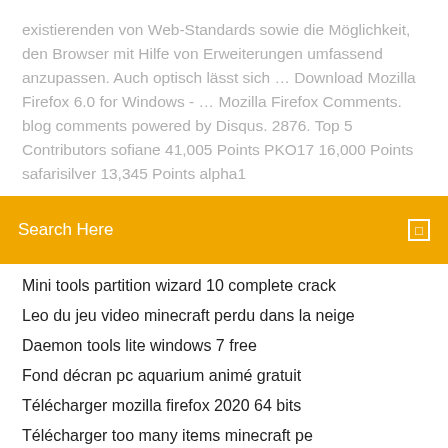existierenden von Web-Standards sowie die Möglichkeit, den Browser mit Hilfe von Erweiterungen umfassend anzupassen. Auch optisch lässt sich … Download Mozilla Firefox 6.0 for Windows - … Mozilla Firefox Comments. blog comments powered by Disqus. 2876. Top 5 Contributors sofiane 41,005 Points PKO17 16,000 Points safarisilver 13,345 Points alpha1
Search Here
Mini tools partition wizard 10 complete crack
Leo du jeu video minecraft perdu dans la neige
Daemon tools lite windows 7 free
Fond décran pc aquarium animé gratuit
Télécharger mozilla firefox 2020 64 bits
Télécharger too many items minecraft pe
Telecharger winrar password by derko txt
Editeur de partition midi gratuit
Dr web cure it linux
Etc 8 high powercome pack good hollandr